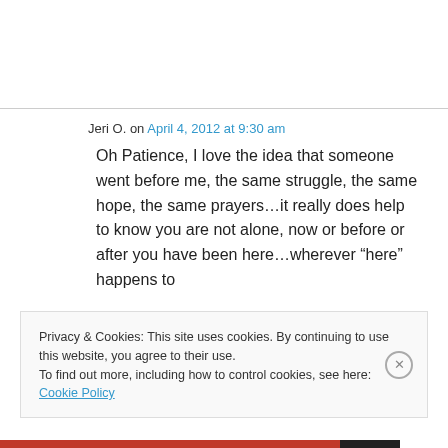Jeri O. on April 4, 2012 at 9:30 am
Oh Patience, I love the idea that someone went before me, the same struggle, the same hope, the same prayers…it really does help to know you are not alone, now or before or after you have been here…wherever “here” happens to
Privacy & Cookies: This site uses cookies. By continuing to use this website, you agree to their use.
To find out more, including how to control cookies, see here: Cookie Policy
Close and accept